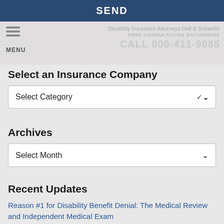SEND
Disability Insurance Attorneys Dell & Schaefer
FREE CONSULTATION NATIONWIDE
CALL 800-411-9085
Select an Insurance Company
Select Category
Archives
Select Month
Recent Updates
Reason #1 for Disability Benefit Denial: The Medical Review and Independent Medical Exam
Can a Disability Company Require Objective Evidence of Disability if None Exist?